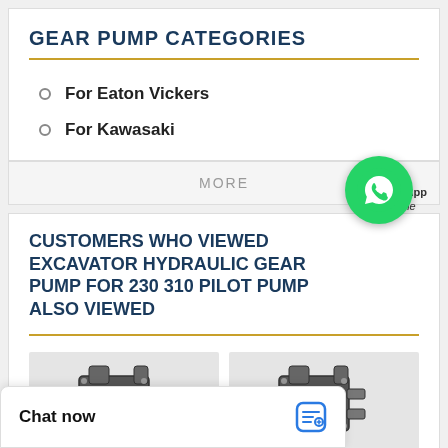GEAR PUMP CATEGORIES
For Eaton Vickers
For Kawasaki
MORE
CUSTOMERS WHO VIEWED EXCAVATOR HYDRAULIC GEAR PUMP FOR 230 310 PILOT PUMP ALSO VIEWED
[Figure (photo): Two hydraulic gear pump units photographed on white background]
WhatsApp Online
Chat now